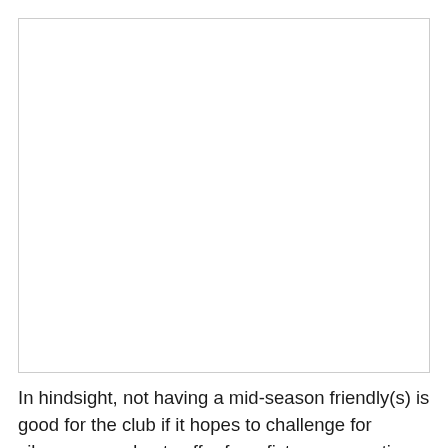[Figure (photo): A large white/blank image area occupying the upper portion of the page.]
In hindsight, not having a mid-season friendly(s) is good for the club if it hopes to challenge for silverware and not suffer from fixture congestion, it also allows the